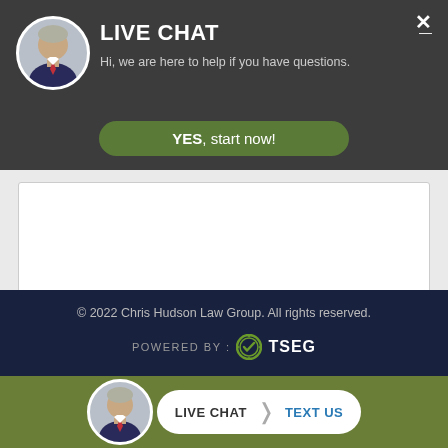[Figure (screenshot): Live chat popup overlay with man's avatar photo, LIVE CHAT heading, subtitle text, green YES start now button, text input area, orange SUBMIT button, dark navy footer with copyright, POWERED BY TSEG logo, and bottom olive bar with LIVE CHAT / TEXT US button]
LIVE CHAT
Hi, we are here to help if you have questions.
YES, start now!
SUBMIT
© 2022 Chris Hudson Law Group. All rights reserved.
POWERED BY : TSEG
LIVE CHAT | TEXT US